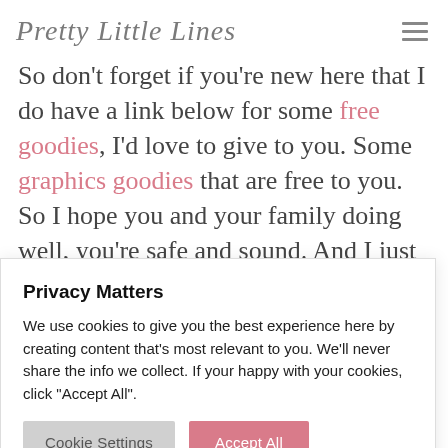Pretty Little Lines
So don't forget if you're new here that I do have a link below for some free goodies, I'd love to give to you. Some graphics goodies that are free to you. So I hope you and your family doing well, you're safe and sound. And I just really …to watch …be to see …ke care.
Privacy Matters
We use cookies to give you the best experience here by creating content that's most relevant to you. We'll never share the info we collect. If your happy with your cookies, click "Accept All".
Cookie Settings
Accept All